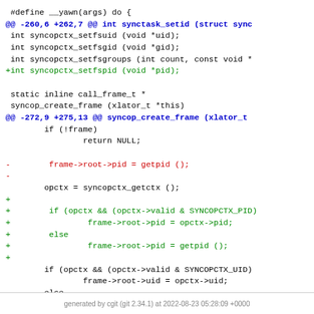[Figure (screenshot): A unified diff / code patch view showing changes to a C header and source file, with context lines in black, diff hunk headers in blue, removed lines in red prefixed with '-', and added lines in green prefixed with '+'. The code involves syncopctx functions and frame->root->pid assignment logic.]
generated by cgit (git 2.34.1) at 2022-08-23 05:28:09 +0000